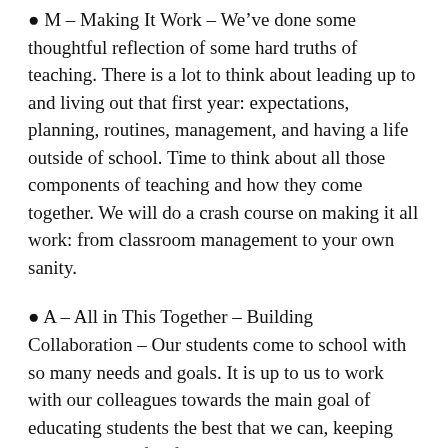M – Making It Work – We've done some thoughtful reflection of some hard truths of teaching. There is a lot to think about leading up to and living out that first year: expectations, planning, routines, management, and having a life outside of school. Time to think about all those components of teaching and how they come together. We will do a crash course on making it all work: from classroom management to your own sanity.
A – All in This Together – Building Collaboration – Our students come to school with so many needs and goals. It is up to us to work with our colleagues towards the main goal of educating students the best that we can, keeping students at the forefront. Collaboration is key in order to provide the best